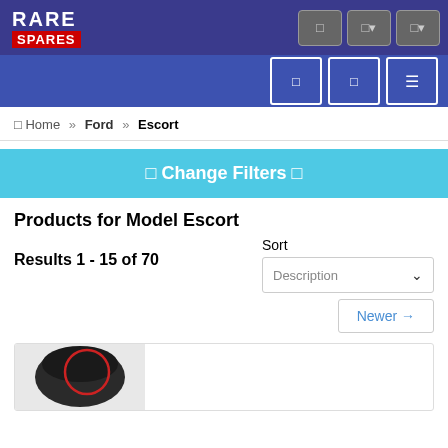Rare Spares – Header navigation
Home » Ford » Escort
⊟ Change Filters ⊟
Products for Model Escort
Results 1 - 15 of 70
Sort
Description
Newer →
[Figure (photo): Partial product image – dark cylindrical auto part with red circle outline, cut off at bottom of page]